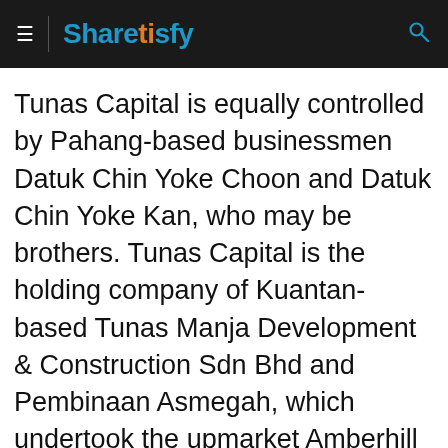Sharetisfy
Tunas Capital is equally controlled by Pahang-based businessmen Datuk Chin Yoke Choon and Datuk Chin Yoke Kan, who may be brothers. Tunas Capital is the holding company of Kuantan-based Tunas Manja Development & Construction Sdn Bhd and Pembinaan Asmegah, which undertook the upmarket Amberhill development in Taman Melawati some years back.
Can the new shareholders — Goh and the